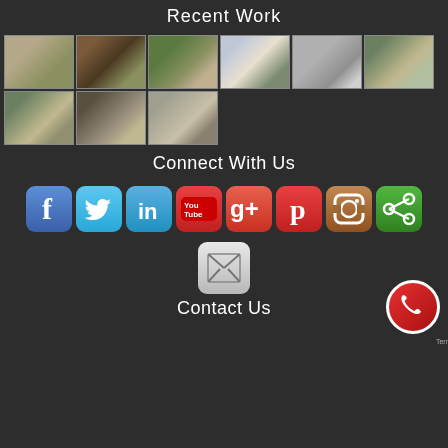Recent Work
[Figure (photo): Gallery of 9 landscape/paving project photos arranged in two rows: 6 in top row, 3 in bottom row]
Connect With Us
[Figure (infographic): Row of 8 social media app icons: Facebook, Twitter, LinkedIn, YouTube, Google+, Pinterest, Instagram, Share]
[Figure (infographic): Email/contact icon button (grey rounded square with envelope X symbol)]
Contact Us
[Figure (infographic): Phone call badge icon (red circle with white phone handset) and Terms label in bottom right]